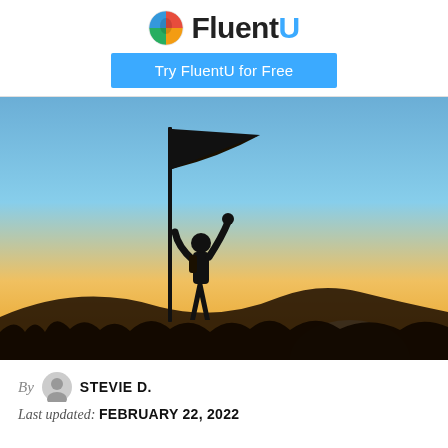FluentU — Try FluentU for Free
[Figure (photo): Silhouette of a person standing on a hilltop at sunset, holding a flag pole with a large flag waving in the wind, arms raised in a victorious pose. Warm orange and golden sunset light in the background.]
By STEVIE D.
Last updated: FEBRUARY 22, 2022